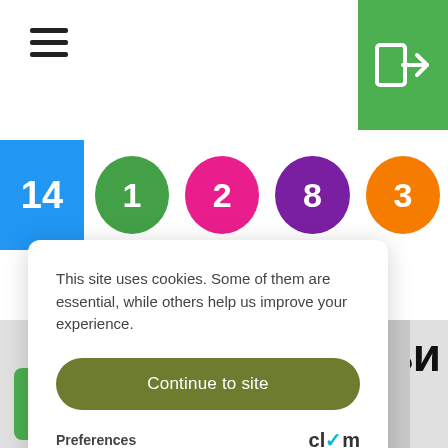[Figure (screenshot): Hamburger menu icon (three horizontal lines) at top left of navigation bar]
[Figure (screenshot): Green login/enter button icon at top right corner]
[Figure (infographic): Row of colorful numbered indicators: blue square with 14, green circle with 1, pink circle with 2, purple circle with 8, orange circle with 3]
This site uses cookies. Some of them are essential, while others help us improve your experience.
Continue to site
Preferences
[Figure (logo): Clym logo with teal checkmark]
[Figure (photo): Partial photo of a man's head/face at bottom of page]
[Figure (screenshot): Green checkbox icon with white checkmark at bottom left]